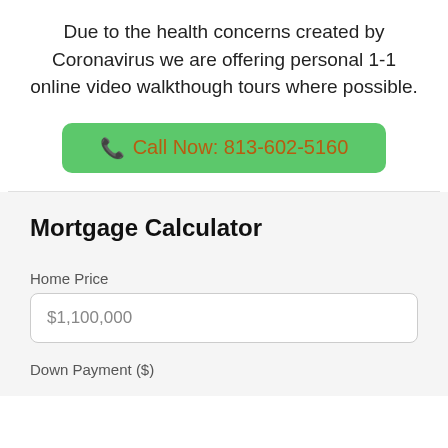Due to the health concerns created by Coronavirus we are offering personal 1-1 online video walkthough tours where possible.
Call Now: 813-602-5160
Mortgage Calculator
Home Price
$1,100,000
Down Payment ($)